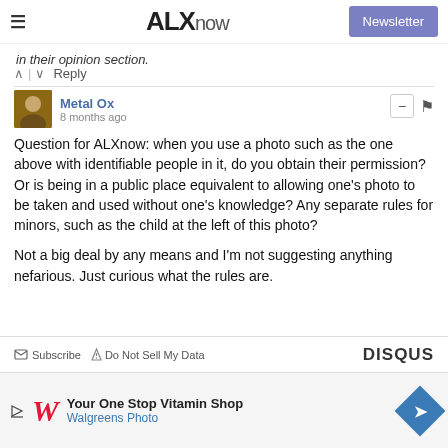ALXnow — Newsletter
in their opinion section.
^ | v  Reply
Metal Ox
8 months ago
Question for ALXnow: when you use a photo such as the one above with identifiable people in it, do you obtain their permission? Or is being in a public place equivalent to allowing one's photo to be taken and used without one's knowledge? Any separate rules for minors, such as the child at the left of this photo?

Not a big deal by any means and I'm not suggesting anything nefarious. Just curious what the rules are.
^ | v  Reply
Subscribe  Do Not Sell My Data  DISQUS
Your One Stop Vitamin Shop
Walgreens Photo